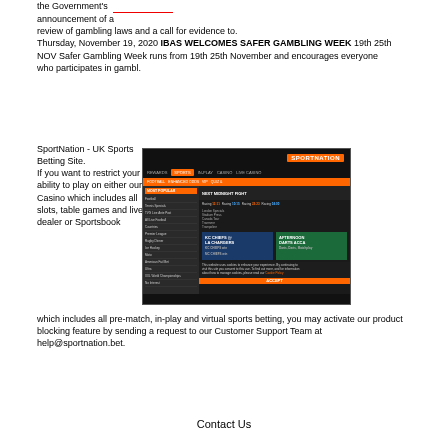the Government's announcement of a review of gambling laws and a call for evidence to. Thursday, November 19, 2020 IBAS WELCOMES SAFER GAMBLING WEEK 19th 25th NOV Safer Gambling Week runs from 19th 25th November and encourages everyone who participates in gambl.
SportNation - UK Sports Betting Site. If you want to restrict your ability to play on either our Casino which includes all slots, table games and live dealer or Sportsbook which includes all pre-match, in-play and virtual sports betting, you may activate our product blocking feature by sending a request to our Customer Support Team at help@sportnation.bet.
[Figure (screenshot): Screenshot of the SportNation UK sports betting website showing the homepage with sports navigation, racing odds, KC Chiefs @ LA Chargers and Afternoon Darts Acca promotions, and a cookie consent banner.]
Contact Us